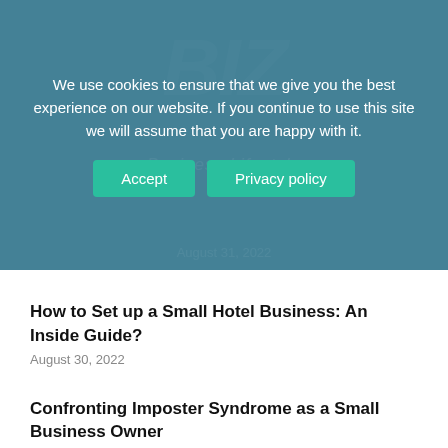We use cookies to ensure that we give you the best experience on our website. If you continue to use this site we will assume that you are happy with it.
Accept | Privacy policy
How to Set up a Small Hotel Business: An Inside Guide?
August 30, 2022
Confronting Imposter Syndrome as a Small Business Owner
August 30, 2022
10 Easy Yoga for beginners
August 30, 2022